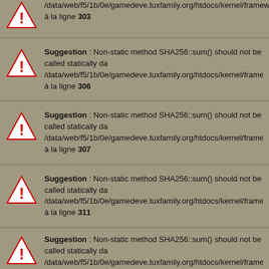Suggestion : Non-static method SHA256::sum() should not be called statically da /data/web/f5/1b/0e/gamedeve.tuxfamily.org/htdocs/kernel/framework/lib/sha2 à la ligne 303
Suggestion : Non-static method SHA256::sum() should not be called statically da /data/web/f5/1b/0e/gamedeve.tuxfamily.org/htdocs/kernel/framework/lib/sha2 à la ligne 306
Suggestion : Non-static method SHA256::sum() should not be called statically da /data/web/f5/1b/0e/gamedeve.tuxfamily.org/htdocs/kernel/framework/lib/sha2 à la ligne 307
Suggestion : Non-static method SHA256::sum() should not be called statically da /data/web/f5/1b/0e/gamedeve.tuxfamily.org/htdocs/kernel/framework/lib/sha2 à la ligne 311
Suggestion : Non-static method SHA256::sum() should not be called statically da /data/web/f5/1b/0e/gamedeve.tuxfamily.org/htdocs/kernel/framework/lib/sha2 ligne 315
[Figure (screenshot): Macy's advertisement banner: 'KISS BORING LIPS GOODBYE' with woman photo and SHOP NOW button, infolinks bar overlay]